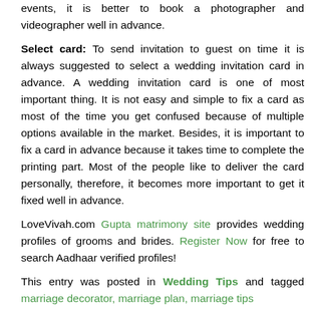events, it is better to book a photographer and videographer well in advance.
Select card: To send invitation to guest on time it is always suggested to select a wedding invitation card in advance. A wedding invitation card is one of most important thing. It is not easy and simple to fix a card as most of the time you get confused because of multiple options available in the market. Besides, it is important to fix a card in advance because it takes time to complete the printing part. Most of the people like to deliver the card personally, therefore, it becomes more important to get it fixed well in advance.
LoveVivah.com Gupta matrimony site provides wedding profiles of grooms and brides. Register Now for free to search Aadhaar verified profiles!
This entry was posted in Wedding Tips and tagged marriage decorator, marriage plan, marriage tips